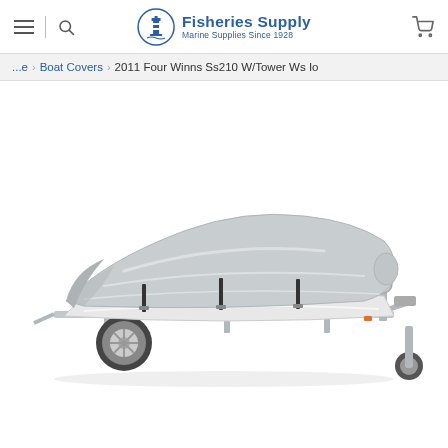Fisheries Supply — Marine Supplies Since 1928
...e > Boat Covers > 2011 Four Winns Ss210 W/Tower Ws Io
[Figure (photo): A gray boat cover fitted over a motorboat on a single-axle trailer, shown on a white background. The cover is light silver-gray with black securing straps. The trailer has chrome/silver wheels and a standard hitch.]